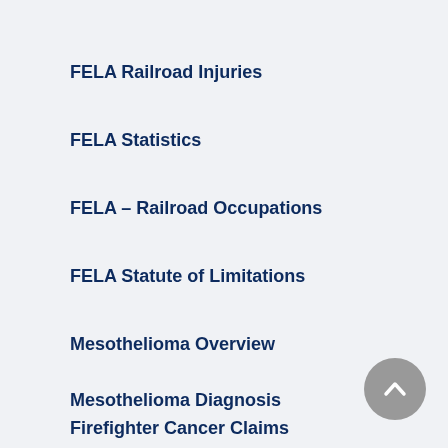FELA Railroad Injuries
FELA Statistics
FELA – Railroad Occupations
FELA Statute of Limitations
Mesothelioma Overview
Mesothelioma Diagnosis
Firefighter Cancer Claims